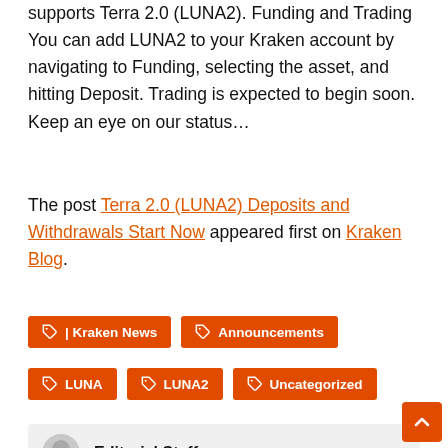supports Terra 2.0 (LUNA2). Funding and Trading You can add LUNA2 to your Kraken account by navigating to Funding, selecting the asset, and hitting Deposit. Trading is expected to begin soon. Keep an eye on our status…
The post Terra 2.0 (LUNA2) Deposits and Withdrawals Start Now appeared first on Kraken Blog.
| Kraken News
Announcements
LUNA
LUNA2
Uncategorized
Editorial Staff